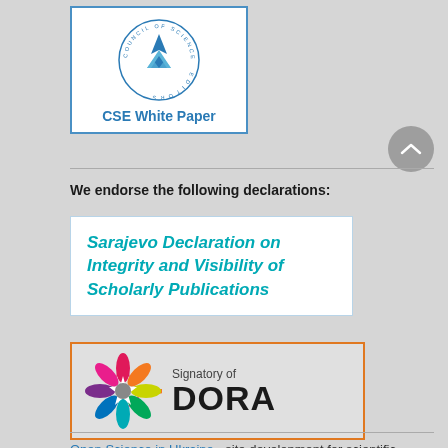[Figure (logo): CSE (Council of Science Editors) White Paper logo in blue border box with circular emblem and text 'CSE White Paper']
We endorse the following declarations:
[Figure (illustration): Sarajevo Declaration on Integrity and Visibility of Scholarly Publications - white box with cyan/teal italic bold text]
[Figure (logo): Signatory of DORA logo - orange bordered box with colorful star/flower emblem and 'Signatory of DORA' text]
Open Science in Ukraine - site development for scientific journals